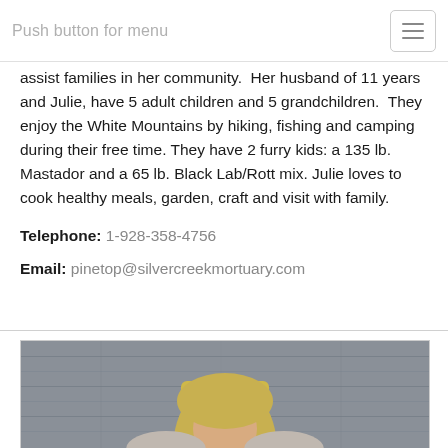Push button for menu
assist families in her community. Her husband of 11 years and Julie, have 5 adult children and 5 grandchildren. They enjoy the White Mountains by hiking, fishing and camping during their free time. They have 2 furry kids: a 135 lb. Mastador and a 65 lb. Black Lab/Rott mix. Julie loves to cook healthy meals, garden, craft and visit with family.
Telephone: 1-928-358-4756
Email: pinetop@silvercreekmortuary.com
[Figure (photo): Portrait photo of a woman with blonde hair against a wooden gray background]